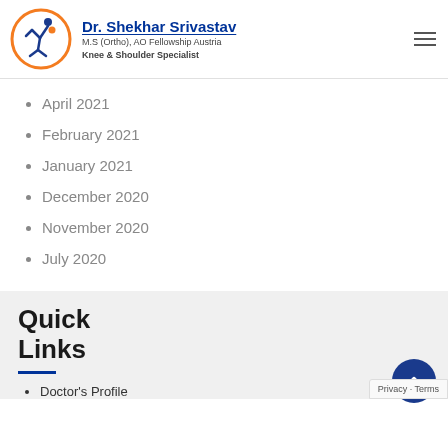Dr. Shekhar Srivastav — M.S (Ortho), AO Fellowship Austria — Knee & Shoulder Specialist
April 2021
February 2021
January 2021
December 2020
November 2020
July 2020
Quick Links
Doctor's Profile